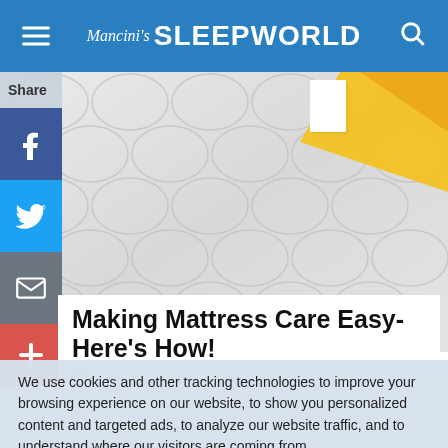Mancini's SLEEPWORLD
[Figure (photo): Close-up photo of a white quilted mattress surface with a yellow rubber glove visible at the top right corner]
Share
Making Mattress Care Easy-Here's How!
May 25, 2022
We use cookies and other tracking technologies to improve your browsing experience on our website, to show you personalized content and targeted ads, to analyze our website traffic, and to understand where our visitors are coming from.